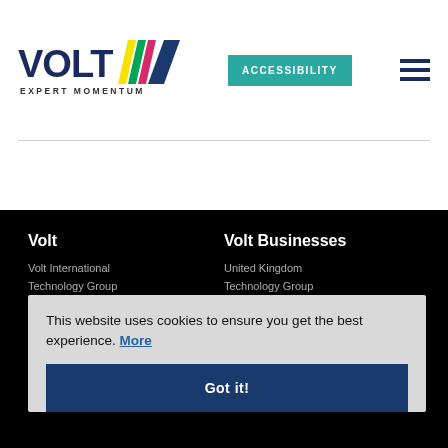[Figure (logo): Volt logo with colorful diagonal slashes and tagline EXPERT MOMENTUM]
ACCESSIBILITY
[Figure (other): Hamburger menu icon with three horizontal lines]
Volt
Volt Businesses
Volt International
United Kingdom
Technology Group
Site Map / Privacy Policy
Belgium
EEO Policy
France
Modern Slavery
USA
Contact
India
DTS Technology
This website uses cookies to ensure you get the best experience. More
Got it!